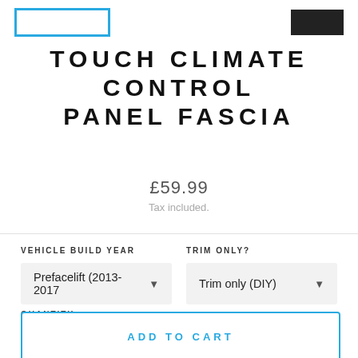[Figure (logo): Blue outlined rectangle logo placeholder on the left, black rectangle image on the right]
TOUCH CLIMATE CONTROL PANEL FASCIA
£59.99
Tax included.
VEHICLE BUILD YEAR
TRIM ONLY?
Prefacelift (2013-2017 ▼
Trim only (DIY) ▼
QUANTITY
− 1 +
ADD TO CART